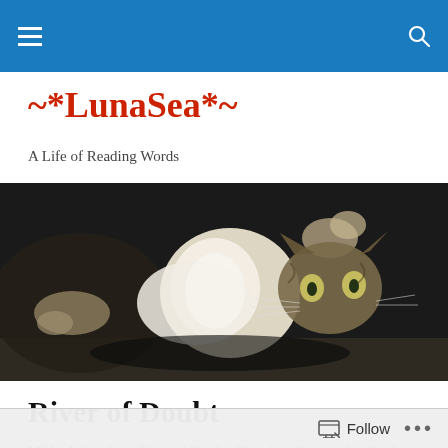~*LunaSea*~ — navigation bar with hamburger menu and search icon
~*LunaSea*~
A Life of Reading Words
[Figure (photo): A cat lying on its back with green eyes, photographed in dramatic low-key lighting against a dark background.]
River of Doubt
Millard, Candice. River of Doubt: Theodore Roosevelt's Darkest Journey. Read by Paul Michael. Westminster, MD:
Follow ...